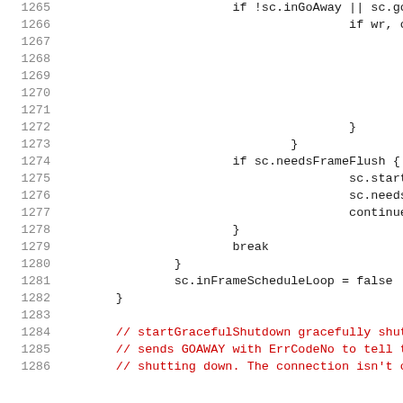[Figure (screenshot): Source code listing showing Go language code lines 1265-1286, with line numbers in grey on the left and code in monospace font. Comments appear in red. Code includes control flow with if/continue/break statements and function calls related to frame scheduling and graceful shutdown.]